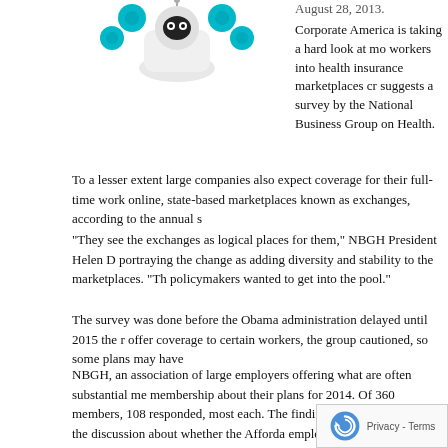[Figure (photo): Image of a robot-like figure with teal/blue spheres and a central face, likely representing health insurance or technology concept]
August 28, 2013.
Corporate America is taking a hard look at moving workers into health insurance marketplaces created suggests a survey by the National Business Group on Health.
To a lesser extent large companies also expect coverage for their full-time workers online, state-based marketplaces known as exchanges, according to the annual s
“They see the exchanges as logical places for them,” NBGH President Helen D portraying the change as adding diversity and stability to the marketplaces. “Th policymakers wanted to get into the pool.”
The survey was done before the Obama administration delayed until 2015 the r offer coverage to certain workers, the group cautioned, so some plans may have
NBGH, an association of large employers offering what are often substantial me membership about their plans for 2014. Of 360 members, 108 responded, most each. The findings are likely to add to the discussion about whether the Afforda employer-based coverage.
NBGH asked whether employers expected various groups “who m… able to 2014.”